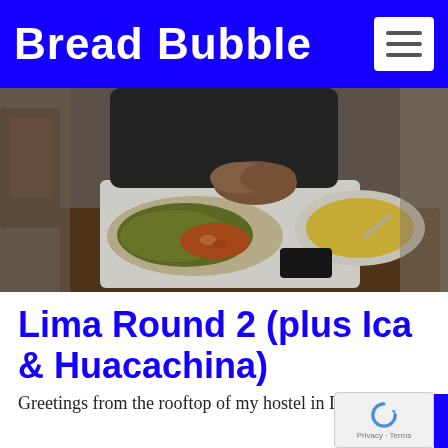Bread Bubble
[Figure (photo): Restaurant scene with a person sitting at a table with two dishes: a plate of noodles with sauce and a bowl of yellow soup/broth, on a dark wooden table.]
Lima Round 2 (plus Ica & Huacachina)
Greetings from the rooftop of my hostel in Lima. It's my last morning here until I return